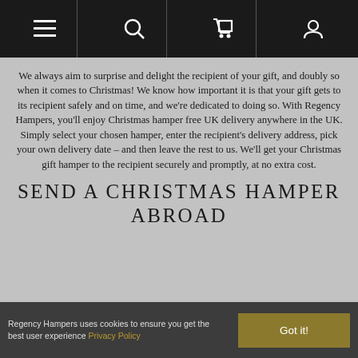[Navigation bar with menu, search, cart, and account icons]
We always aim to surprise and delight the recipient of your gift, and doubly so when it comes to Christmas! We know how important it is that your gift gets to its recipient safely and on time, and we're dedicated to doing so. With Regency Hampers, you'll enjoy Christmas hamper free UK delivery anywhere in the UK. Simply select your chosen hamper, enter the recipient's delivery address, pick your own delivery date – and then leave the rest to us. We'll get your Christmas gift hamper to the recipient securely and promptly, at no extra cost.
SEND A CHRISTMAS HAMPER ABROAD
Regency Hampers uses cookies to ensure you get the best user experience Privacy Policy  Got it!